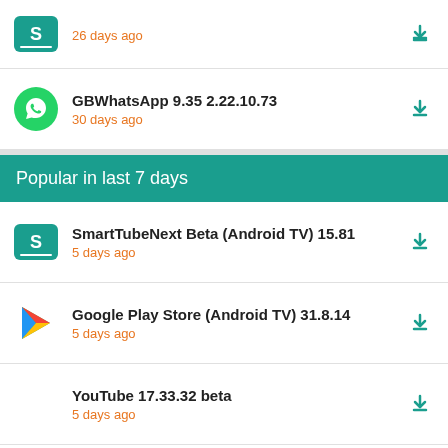26 days ago
GBWhatsApp 9.35 2.22.10.73
30 days ago
Popular in last 7 days
SmartTubeNext Beta (Android TV) 15.81
5 days ago
Google Play Store (Android TV) 31.8.14
5 days ago
YouTube 17.33.32 beta
5 days ago
8 Ball Pool 5.9.0-beta2
3 days ago